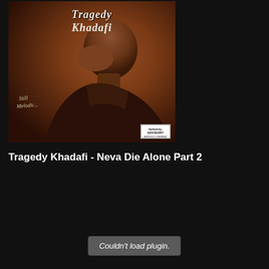[Figure (photo): Album cover art for Tragedy Khadafi - Still Melodic. Shows a person bowing their head with a chain, with ornate gothic-style text reading 'Tragedy Khadafi' at the top and 'Still Melodic' in the lower left. A Parental Advisory label is in the lower right corner.]
Tragedy Khadafi - Neva Die Alone Part 2
Couldn't load plugin.